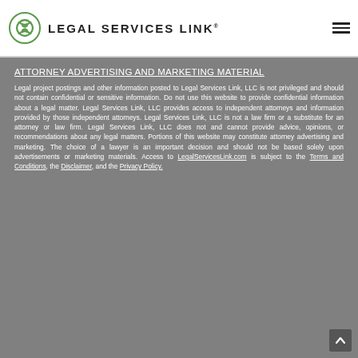[Figure (logo): Legal Services Link logo with stylized icon and text 'LEGAL SERVICES LINK®']
ATTORNEY ADVERTISING AND MARKETING MATERIAL
Legal project postings and other information posted to Legal Services Link, LLC is not privileged and should not contain confidential or sensitive information. Do not use this website to provide confidential information about a legal matter. Legal Services Link, LLC provides access to independent attorneys and information provided by those independent attorneys. Legal Services Link, LLC is not a law firm or a substitute for an attorney or law firm. Legal Services Link, LLC does not and cannot provide advice, opinions, or recommendations about any legal matters. Portions of this website may constitute attorney advertising and marketing. The choice of a lawyer is an important decision and should not be based solely upon advertisements or marketing materials. Access to LegalServicesLink.com is subject to the Terms and Conditions, the Disclaimer, and the Privacy Policy.